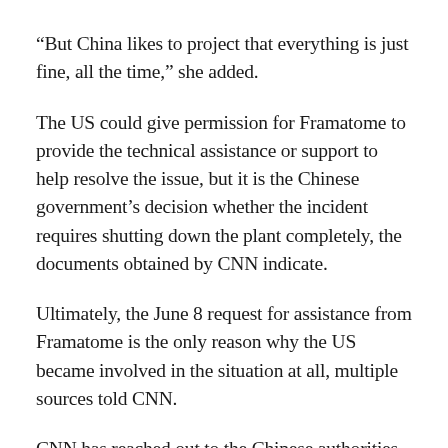“But China likes to project that everything is just fine, all the time,” she added.
The US could give permission for Framatome to provide the technical assistance or support to help resolve the issue, but it is the Chinese government’s decision whether the incident requires shutting down the plant completely, the documents obtained by CNN indicate.
Ultimately, the June 8 request for assistance from Framatome is the only reason why the US became involved in the situation at all, multiple sources told CNN.
CNN has reached out to the Chinese authorities in…